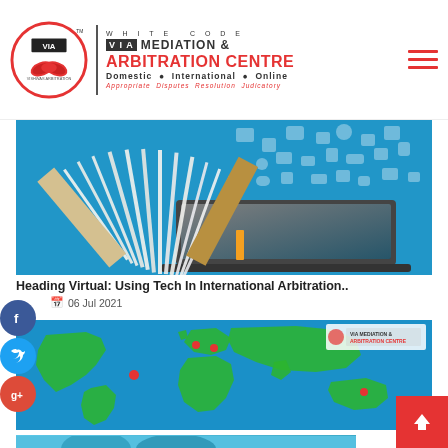[Figure (logo): White Code VIA Mediation & Arbitration Centre logo with circular VIA emblem, text 'MEDIATION &' and 'ARBITRATION CENTRE' in red, tagline 'Domestic International Online', 'Appropriate Disputes Resolution Judicatory']
[Figure (photo): Open book with pages fanning out, laptop in background, digital media icons floating, blue gradient background — illustrating technology in arbitration]
Heading Virtual: Using Tech In International Arbitration..
06 Jul 2021
[Figure (map): World map in blue with red dot markers indicating international arbitration seat locations, VIA Mediation badge in top right corner]
Seat Outside India In Reference With Bharat Aluminium V/S. Kaiser Aluminium Tech..
06 Jul 2021
[Figure (illustration): Partial view of a teal/blue illustration, bottom of page, cut off]